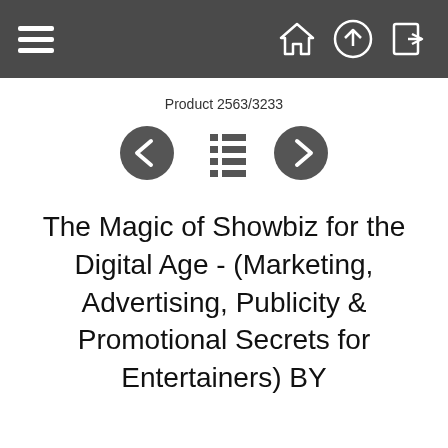[Figure (screenshot): Top navigation bar with hamburger menu on left and home, upload, login icons on right, dark grey background]
Product 2563/3233
[Figure (infographic): Navigation controls: left arrow circle, list/menu icon, right arrow circle]
The Magic of Showbiz for the Digital Age - (Marketing, Advertising, Publicity & Promotional Secrets for Entertainers) BY